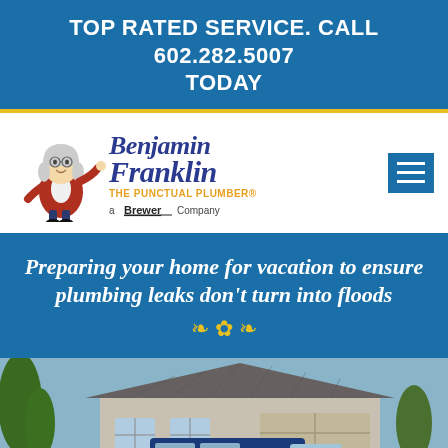TOP RATED SERVICE. CALL 602.282.5007 TODAY
[Figure (logo): Benjamin Franklin The Punctual Plumber, a Brewer Company logo with Benjamin Franklin cartoon mascot]
Preparing your home for vacation to ensure plumbing leaks don't turn into floods
[Figure (photo): Benjamin Franklin Plumbing van parked in front of a residential house with trees and garage visible]